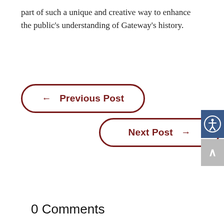part of such a unique and creative way to enhance the public's understanding of Gateway's history.
← Previous Post
Next Post →
0 Comments